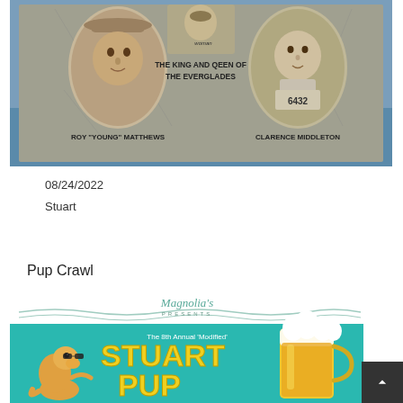[Figure (photo): Historical black and white/sepia composite photo showing Roy 'Young' Matthews and Clarence Middleton with caption 'THE KING AND QEEN OF THE EVERGLADES'. Left oval portrait of man with straw hat, center small portrait of woman, right oval portrait of young man with number 6432.]
08/24/2022
Stuart
Pup Crawl
[Figure (illustration): Magnolia's Presents The 8th Annual 'Modified' Stuart Pup Crawl event flyer. Teal background with yellow bubble letters spelling STUART PUP, cartoon kangaroo with sunglasses, frothy beer mug illustration.]